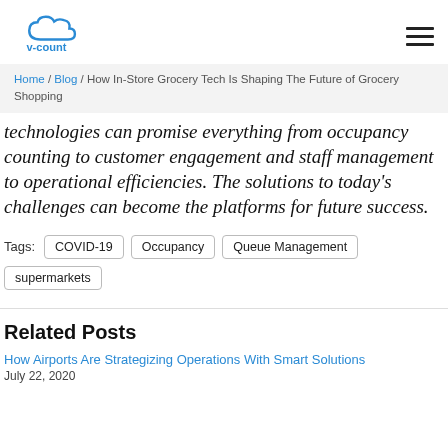v-count logo and navigation
Home / Blog / How In-Store Grocery Tech Is Shaping The Future of Grocery Shopping
technologies can promise everything from occupancy counting to customer engagement and staff management to operational efficiencies. The solutions to today’s challenges can become the platforms for future success.
Tags: COVID-19  Occupancy  Queue Management  supermarkets
Related Posts
How Airports Are Strategizing Operations With Smart Solutions
July 22, 2020